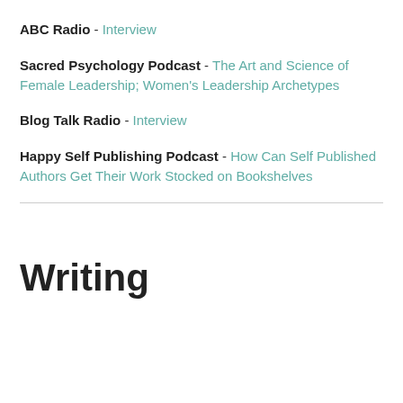ABC Radio - Interview
Sacred Psychology Podcast - The Art and Science of Female Leadership; Women's Leadership Archetypes
Blog Talk Radio - Interview
Happy Self Publishing Podcast - How Can Self Published Authors Get Their Work Stocked on Bookshelves
Writing